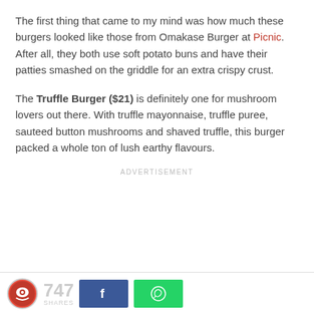The first thing that came to my mind was how much these burgers looked like those from Omakase Burger at Picnic. After all, they both use soft potato buns and have their patties smashed on the griddle for an extra crispy crust.
The Truffle Burger ($21) is definitely one for mushroom lovers out there. With truffle mayonnaise, truffle puree, sauteed button mushrooms and shaved truffle, this burger packed a whole ton of lush earthy flavours.
ADVERTISEMENT
747 SHARES